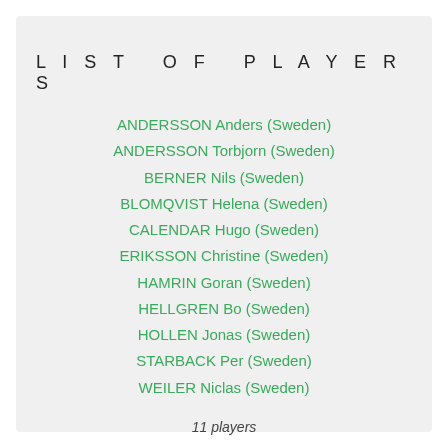LIST OF PLAYERS
ANDERSSON Anders (Sweden)
ANDERSSON Torbjorn (Sweden)
BERNER Nils (Sweden)
BLOMQVIST Helena (Sweden)
CALENDAR Hugo (Sweden)
ERIKSSON Christine (Sweden)
HAMRIN Goran (Sweden)
HELLGREN Bo (Sweden)
HOLLEN Jonas (Sweden)
STARBACK Per (Sweden)
WEILER Niclas (Sweden)
11 players